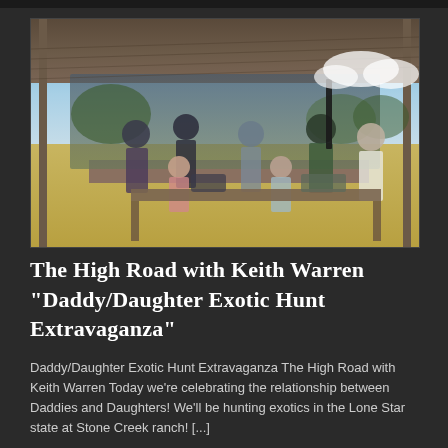[Figure (photo): Outdoor scene under a metal shed roof. A group of adults and children sit and stand around a wooden table at what appears to be a shooting or hunting range. One person holds a rifle. Trees and open grassland are visible in the background under a partly cloudy blue sky.]
The High Road with Keith Warren "Daddy/Daughter Exotic Hunt Extravaganza"
Daddy/Daughter Exotic Hunt Extravaganza The High Road with Keith Warren Today we're celebrating the relationship between Daddies and Daughters! We'll be hunting exotics in the Lone Star state at Stone Creek ranch! [...]